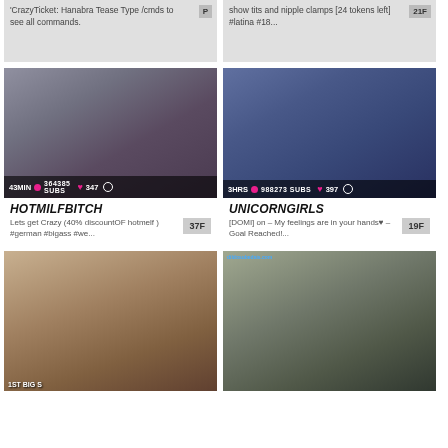[Figure (screenshot): Top-left streamer card with gray thumbnail, text overlay showing 364385 SUBS, 43MIN, 347 likes]
CrazyTicket: Hanabra Tease Type /cmds to see all commands.
[Figure (screenshot): Top-right streamer card with gray thumbnail, text overlay showing 988273 SUBS, 21F badge]
show tits and nipple clamps [24 tokens left] #latina #18...
[Figure (photo): HOTMILFBITCH webcam thumbnail showing person on bed, 43MIN 364385 SUBS 347 overlay]
HOTMILFBITCH
Lets get Crazy (40% discountOF hotmelf ) #german #bigass #we...
[Figure (photo): UNICORNGIRLS webcam thumbnail showing person with short dark hair, 3HRS 988273 SUBS 397 overlay]
UNICORNGIRLS
[DOMI] on – My feelings are in your hands♥ – Goal Reached!...
[Figure (photo): Bottom-left webcam thumbnail showing person bending over in denim skirt]
[Figure (photo): Bottom-right webcam thumbnail showing person in pink bikini bottom standing in room, watermark visible]